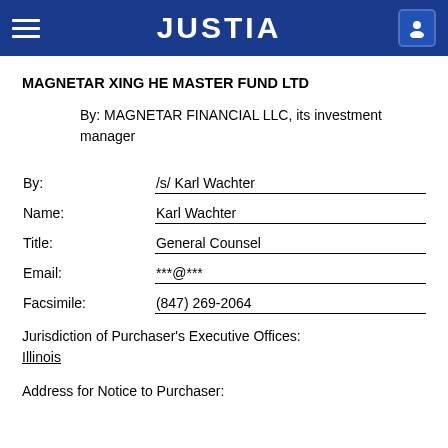JUSTIA
MAGNETAR XING HE MASTER FUND LTD
By: MAGNETAR FINANCIAL LLC, its investment manager
| Label | Value |
| --- | --- |
| By: | /s/ Karl Wachter |
| Name: | Karl Wachter |
| Title: | General Counsel |
| Email: | ***@*** |
| Facsimile: | (847) 269-2064 |
Jurisdiction of Purchaser's Executive Offices:
Illinois
Address for Notice to Purchaser: